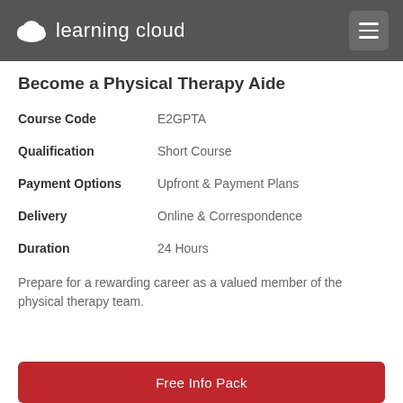learning cloud
Become a Physical Therapy Aide
| Field | Value |
| --- | --- |
| Course Code | E2GPTA |
| Qualification | Short Course |
| Payment Options | Upfront & Payment Plans |
| Delivery | Online & Correspondence |
| Duration | 24 Hours |
Prepare for a rewarding career as a valued member of the physical therapy team.
Free Info Pack